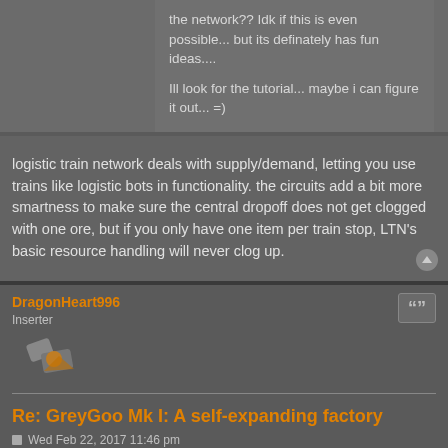the network?? Idk if this is even possible... but its definately has fun ideas....
Ill look for the tutorial... maybe i can figure it out... =)
logistic train network deals with supply/demand, letting you use trains like logistic bots in functionality. the circuits add a bit more smartness to make sure the central dropoff does not get clogged with one ore, but if you only have one item per train stop, LTN's basic resource handling will never clog up.
DragonHeart996
Inserter
Re: GreyGoo Mk I: A self-expanding factory
Wed Feb 22, 2017 11:46 pm
Anomoly2012 wrote: